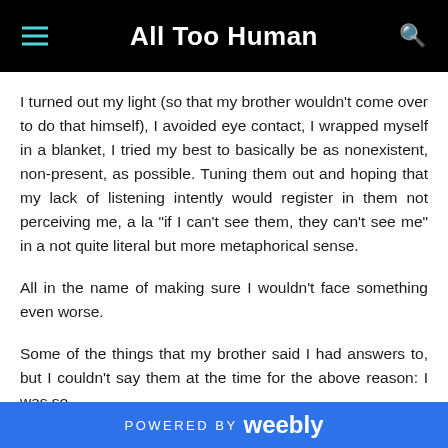All Too Human
I turned out my light (so that my brother wouldn't come over to do that himself), I avoided eye contact, I wrapped myself in a blanket, I tried my best to basically be as nonexistent, non-present, as possible. Tuning them out and hoping that my lack of listening intently would register in them not perceiving me, a la "if I can't see them, they can't see me" in a not quite literal but more metaphorical sense.
All in the name of making sure I wouldn't face something even worse.
Some of the things that my brother said I had answers to, but I couldn't say them at the time for the above reason: I was so
POWERED BY weebly